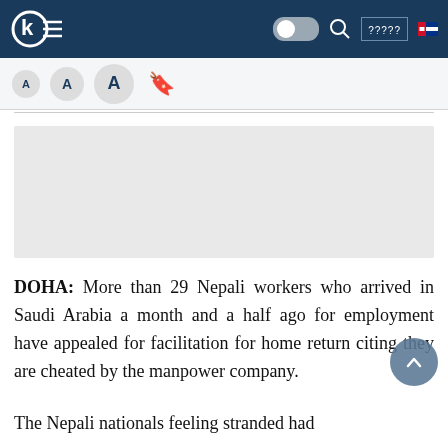Kantipur TV / NEWS website header with logo, toggle, search, navigation and flag
[Figure (screenshot): Font size selector toolbar with three 'A' buttons (small, medium, large) and a bookmark icon on light grey background]
[Figure (photo): Grey placeholder advertisement or image block]
DOHA: More than 29 Nepali workers who arrived in Saudi Arabia a month and a half ago for employment have appealed for facilitation for home return citing they are cheated by the manpower company.
The Nepali nationals feeling stranded had